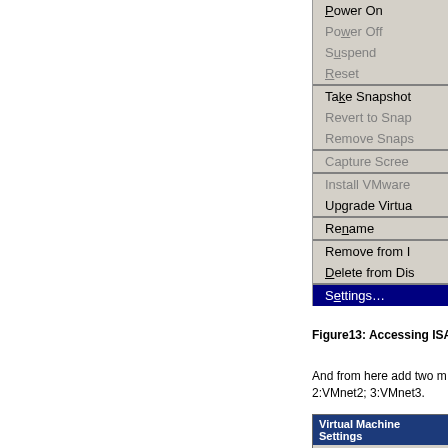[Figure (screenshot): VMware context menu showing options: Power On, Power Off, Suspend, Reset, Take Snapshot, Revert to Snapshot, Remove Snapshot, Capture Screen, Install VMware, Upgrade Virtual..., Rename, Remove from I..., Delete from Dis..., Settings... (highlighted in blue)]
Figure13: Accessing ISA...
And from here add two more network adapters. 2:VMnet2; 3:VMnet3.
[Figure (screenshot): Virtual Machine Settings dialog showing Hardware and Options tabs, with a Device column listing Memory]